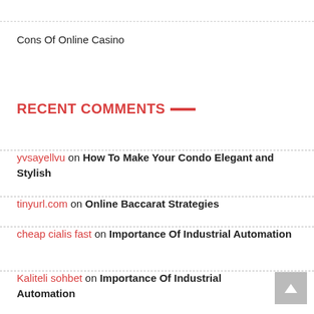Cons Of Online Casino
RECENT COMMENTS—
yvsayellvu on How To Make Your Condo Elegant and Stylish
tinyurl.com on Online Baccarat Strategies
cheap cialis fast on Importance Of Industrial Automation
Kaliteli sohbet on Importance Of Industrial Automation